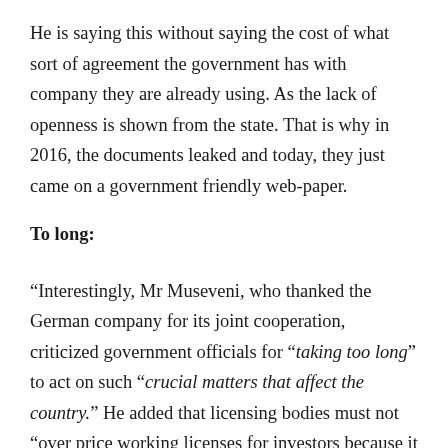He is saying this without saying the cost of what sort of agreement the government has with company they are already using. As the lack of openness is shown from the state. That is why in 2016, the documents leaked and today, they just came on a government friendly web-paper.
To long:
“Interestingly, Mr Museveni, who thanked the German company for its joint cooperation, criticized government officials for “taking too long” to act on such “crucial matters that affect the country.” He added that licensing bodies must not “over price working licenses for investors because it cripples investment and discourages potential investors. “These things of taking two years to deliberate on such matters must stop. Why did you spend two years